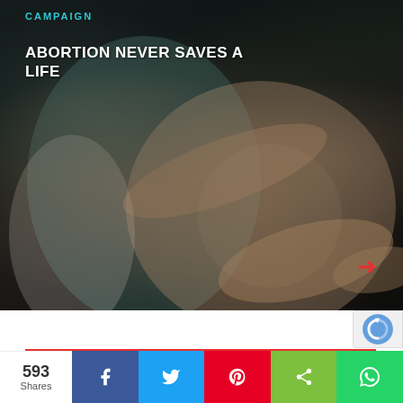[Figure (photo): Dark-tinted photo of a pregnant woman's belly with hands resting on it, appears to be a doctor/medical professional with the patient. Dark overlay applied.]
CAMPAIGN
ABORTION NEVER SAVES A LIFE
593 Shares
Social share bar with Facebook, Twitter, Pinterest, ShareThis, WhatsApp buttons